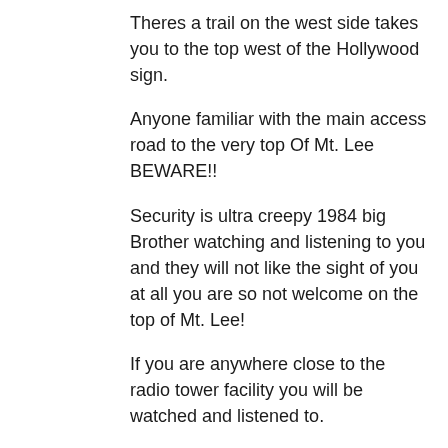Theres a trail on the west side takes you to the top west of the Hollywood sign.
Anyone familiar with the main access road to the very top Of Mt. Lee BEWARE!!
Security is ultra creepy 1984 big Brother watching and listening to you and they will not like the sight of you at all you are so not welcome on the top of Mt. Lee!
If you are anywhere close to the radio tower facility you will be watched and listened to.
Yes!
The Mt. Lee Radio Tower Facility and Hollywood Sign Area have many hidden listening devices that are located at and